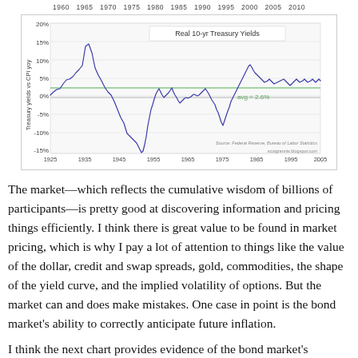[Figure (continuous-plot): Line chart of Real 10-year Treasury Yields (Treasury yields vs CPI yoy) from approximately 1925 to 2010. Y-axis ranges from -15% to 20%. A green horizontal line marks the average = 2.6%. The line is dark blue/purple. Notable features: peak around 15% in early 1930s, deep trough around -10% in mid-1940s, another trough around -5% in mid-1970s, peak around 8% in mid-1980s, then declining toward ~2-3% by 2010. Source: Federal Reserve, Bureau of Labor Statistics. scotgrannis.blogspot.com]
The market—which reflects the cumulative wisdom of billions of participants—is pretty good at discovering information and pricing things efficiently. I think there is great value to be found in market pricing, which is why I pay a lot of attention to things like the value of the dollar, credit and swap spreads, gold, commodities, the shape of the yield curve, and the implied volatility of options. But the market can and does make mistakes. One case in point is the bond market's ability to correctly anticipate future inflation.
I think the next chart provides evidence of the bond market's...